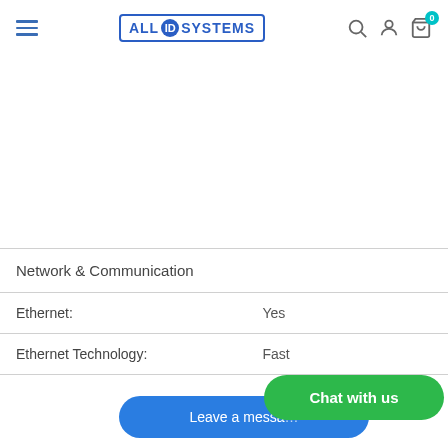ALL ID SYSTEMS — navigation header with hamburger menu, logo, search, account, and cart icons
| Property | Value |
| --- | --- |
| Network & Communication |  |
| Ethernet: | Yes |
| Ethernet Technology: | Fast... |
[Figure (screenshot): Leave a message blue button overlay at bottom of page]
[Figure (screenshot): Chat with us green button overlay at bottom right of page]